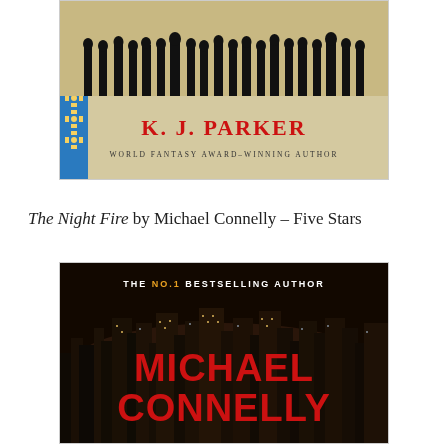[Figure (photo): Book cover of a K.J. Parker novel featuring a blue ornamental border on the left, a beige/tan background with a crowd silhouette at the top, the author name K.J. PARKER in large red letters, and subtitle 'WORLD FANTASY AWARD-WINNING AUTHOR' in small dark text.]
The Night Fire by Michael Connelly – Five Stars
[Figure (photo): Book cover of The Night Fire by Michael Connelly. Dark background showing a city skyline at night with lights. Text reads 'THE NO.1 BESTSELLING AUTHOR' at top in white with NO.1 in gold/orange, then 'MICHAEL' and 'CONNELLY' in large red bold letters.]